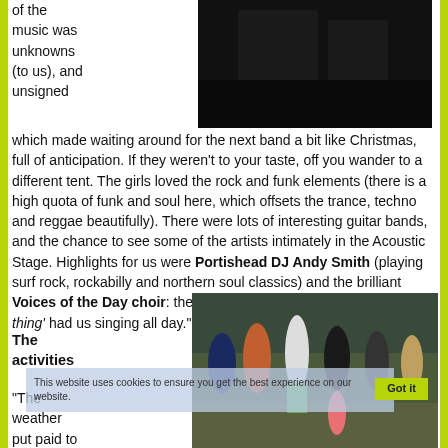[Figure (photo): Dark concert/indoor photo at top right of page]
of the music was unknowns (to us), and unsigned which made waiting around for the next band a bit like Christmas, full of anticipation. If they weren't to your taste, off you wander to a different tent. The girls loved the rock and funk elements (there is a high quota of funk and soul here, which offsets the trance, techno and reggae beautifully). There were lots of interesting guitar bands, and the chance to see some of the artists intimately in the Acoustic Stage. Highlights for us were Portishead DJ Andy Smith (playing surf rock, rockabilly and northern soul classics) and the brilliant Voices of the Day choir: their version of Basement Jaxx 'Do your thing' had us singing all day."
The activities
"The weather put paid to most of the activities
[Figure (photo): Outdoor festival scene with people standing in field, overcast weather]